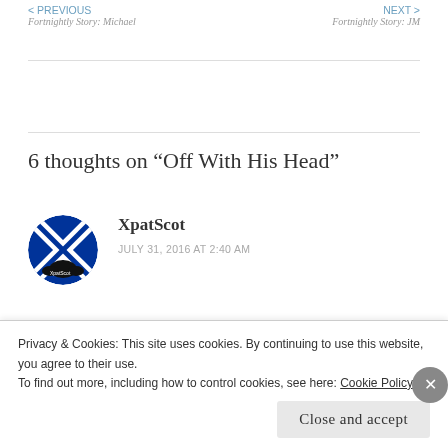< PREVIOUS
Fortnightly Story: Michael
NEXT >
Fortnightly Story: JM
6 thoughts on “Off With His Head”
XpatScot
JULY 31, 2016 AT 2:40 AM
For me, the worst form of criticism of all is deathly silence – when someone asks to read something, then studiously avoids discussing it or even
Privacy & Cookies: This site uses cookies. By continuing to use this website, you agree to their use.
To find out more, including how to control cookies, see here: Cookie Policy
Close and accept